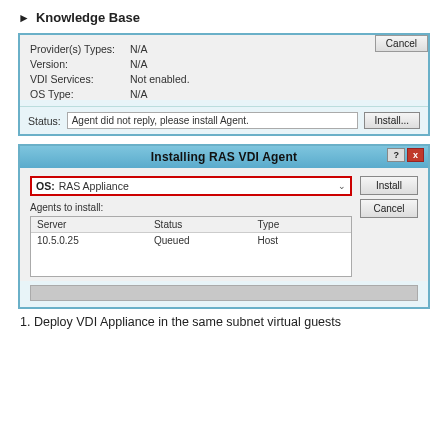Knowledge Base
[Figure (screenshot): A dialog showing server properties with fields: Provider(s) Types: N/A, Version: N/A, VDI Services: Not enabled., OS Type: N/A. Status bar shows 'Agent did not reply, please install Agent.' with an Install button. Cancel button visible at top right.]
[Figure (screenshot): Installing RAS VDI Agent dialog. OS field shows 'RAS Appliance' in a red-bordered dropdown. Agents to install table shows Server: 10.5.0.25, Status: Queued, Type: Host. Install and Cancel buttons on the right. Progress bar at bottom.]
1. Deploy VDI Appliance in the same subnet virtual guests